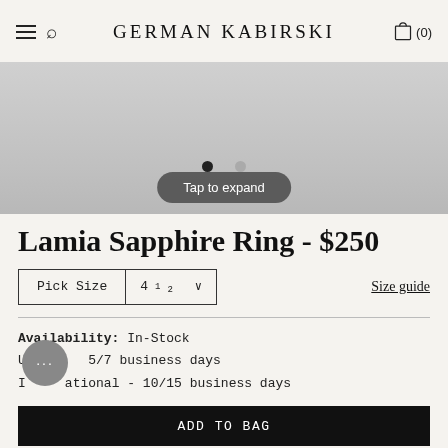GERMAN KABIRSKI
[Figure (screenshot): Product image area with gray background, navigation dots, and 'Tap to expand' button]
Lamia Sapphire Ring - $250
Pick Size  4½  ∨     Size guide
Availability: In-Stock
USA      5/7 business days
International - 10/15 business days
ADD TO BAG